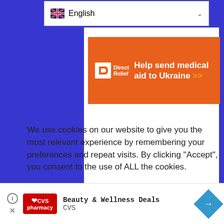[Figure (screenshot): Blue background browser UI with English language selector dropdown, white content panel, and orange DirectRelief ad banner saying 'Help send medical aid to Ukraine >>']
We use cookies on our website to give you the most relevant experience by remembering your preferences and repeat visits. By clicking "Accept", you consent to the use of ALL the cookies.
Do not sell my personal information.
[Figure (screenshot): Bottom advertisement bar with CVS Pharmacy logo, 'Beauty & Wellness Deals CVS' text, and a navigation arrow icon]